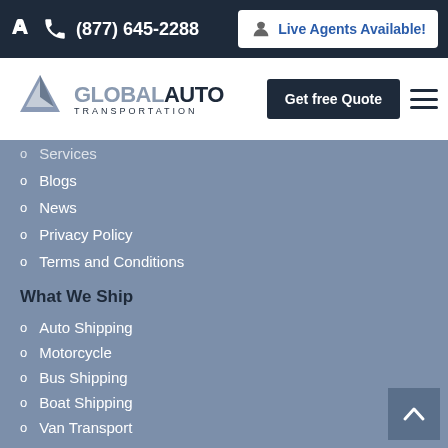(877) 645-2288
Live Agents Available!
[Figure (logo): Global Auto Transportation logo with triangle/arrow graphic]
Get free Quote
Services
Blogs
News
Privacy Policy
Terms and Conditions
What We Ship
Auto Shipping
Motorcycle
Bus Shipping
Boat Shipping
Van Transport